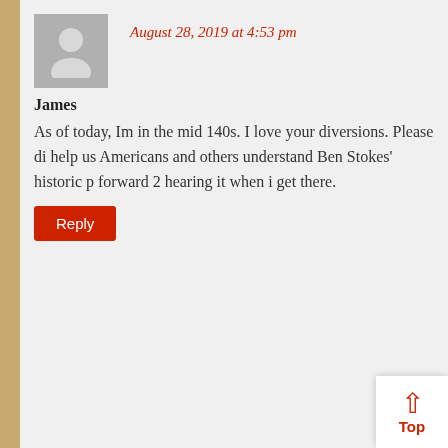August 28, 2019 at 4:53 pm
James
As of today, Im in the mid 140s. I love your diversions. Please di help us Americans and others understand Ben Stokes' historic p forward 2 hearing it when i get there.
Reply
August 29, 2019 at 5:06 pm
David Crowther
Hi James, and thanks. Ad what a suggestion! I don't know tha much is about knowing the game. England were bowed out fo which is a catastrophically low score. England had lost 9 of th away from the target and that means that Leach was sm bowled at any moment. So Stokes hit an enormously tast sco
Top